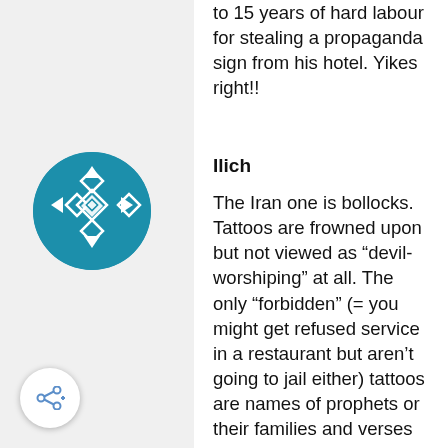to 15 years of hard labour for stealing a propaganda sign from his hotel. Yikes right!!
[Figure (illustration): Circular avatar with teal/blue background and white geometric diamond pattern design]
Ilich
The Iran one is bollocks. Tattoos are frowned upon but not viewed as “devil-worshiping” at all. The only “forbidden” (= you might get refused service in a restaurant but aren’t going to jail either) tattoos are names of prophets or their families and verses of the Qur’an or hadith.